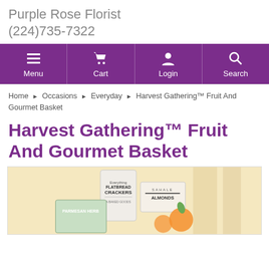Purple Rose Florist
(224)735-7322
[Figure (screenshot): Purple navigation bar with Menu, Cart, Login, Search icons]
Home ▶ Occasions ▶ Everyday ▶ Harvest Gathering™ Fruit And Gourmet Basket
Harvest Gathering™ Fruit And Gourmet Basket
[Figure (photo): Photo of a gourmet basket containing Everything Flatbread Crackers, Sahale Almonds, Parmesan Herb crackers, and fruit on a cream/beige background]